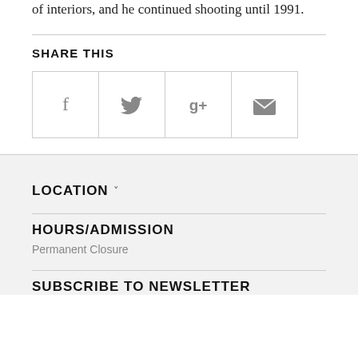of interiors, and he continued shooting until 1991.
SHARE THIS
[Figure (infographic): Row of four social sharing icon buttons: Facebook (f), Twitter (bird), Google+ (g+), Email (envelope), each in a bordered square box]
LOCATION ˅
HOURS/ADMISSION
Permanent Closure
SUBSCRIBE TO NEWSLETTER